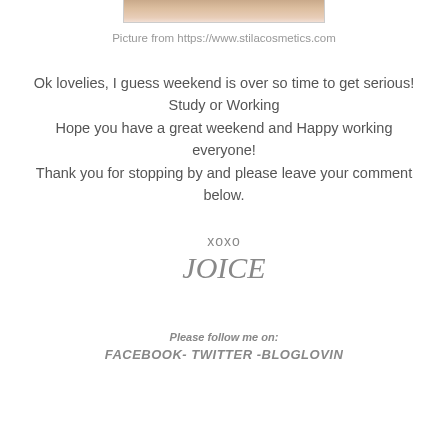[Figure (photo): Partial photo cropped at top showing a skin-toned cosmetics product image from stilacosmetics.com]
Picture from https://www.stilacosmetics.com
Ok lovelies, I guess weekend is over so time to get serious! Study or Working
Hope you have a great weekend and Happy working everyone!
Thank you for stopping by and please leave your comment below.
xoxo
JOICE
Please follow me on:
FACEBOOK- TWITTER -BLOGLOVIN